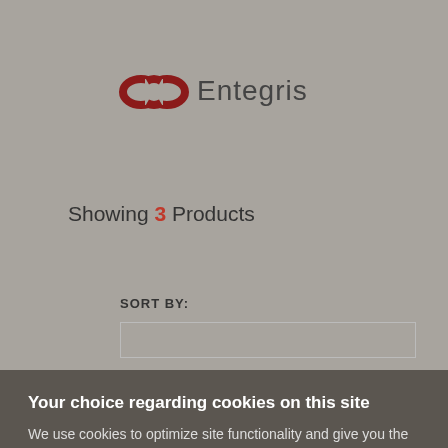[Figure (logo): Entegris company logo — two overlapping loop shapes in dark red/maroon followed by 'Entegris' in dark grey text]
Showing 3 Products
SORT BY:
Your choice regarding cookies on this site
We use cookies to optimize site functionality and give you the best possible experience.
I ACCEPT COOKIES
SETTINGS